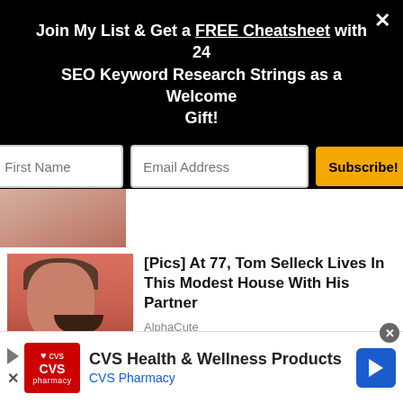Join My List & Get a FREE Cheatsheet with 24 SEO Keyword Research Strings as a Welcome Gift!
[Figure (screenshot): Email subscription form with First Name field, Email Address field, and Subscribe! button on black background]
[Figure (photo): Partial thumbnail image showing a hand, cropped at top]
[Figure (photo): Photo of Tom Selleck, older man with mustache on orange-red background]
[Pics] At 77, Tom Selleck Lives In This Modest House With His Partner
AlphaCute
[Figure (photo): Partial bottom image showing organic/nature texture in browns and tans]
[Figure (screenshot): CVS Health & Wellness Products advertisement bar with CVS Pharmacy logo, text and navigation arrow icon]